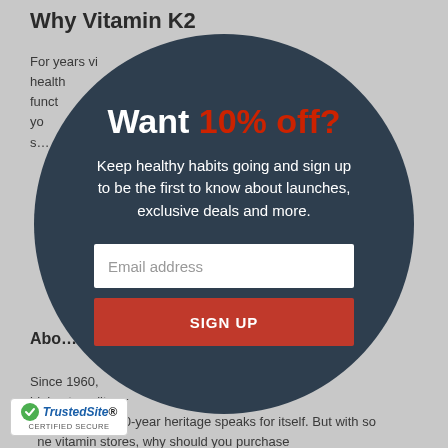Why Vitamin K2
For years vi… for good health … h funct… d in yo… s…
[Figure (infographic): Circular dark modal popup overlay on a webpage background. Contains headline 'Want 10% off?', subtext 'Keep healthy habits going and sign up to be the first to know about launches, exclusive deals and more.', an email address input field, and a red SIGN UP button.]
Abo…
Since 1960, … with the highest quality pr… er service available. This 60-year heritage speaks for itself. But with so … ne vitamin stores, why should you purchase … ts from Bronson?
[Figure (logo): TrustedSite Certified Secure badge with green checkmark]